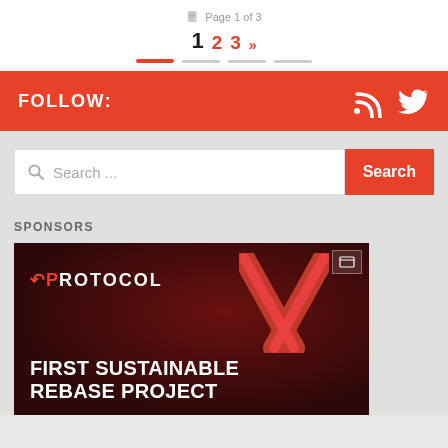Page 1 of 3
1  2  3  »
FOLLOW:
[Figure (screenshot): Search bar with magnifying glass icon and placeholder text 'Search ...' and a red Search button]
SPONSORS
[Figure (illustration): Dark red advertisement banner for Protocol X — shows 'PROTOCOL X' logo with red X graphic and text 'FIRST SUSTAINABLE REBASE PROJECT']